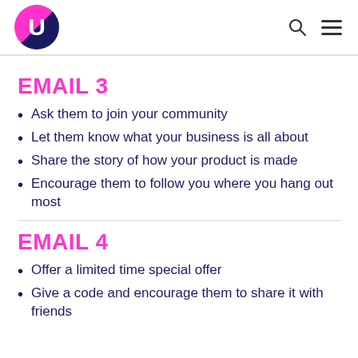U logo with search and menu icons
EMAIL 3
Ask them to join your community
Let them know what your business is all about
Share the story of how your product is made
Encourage them to follow you where you hang out most
EMAIL 4
Offer a limited time special offer
Give a code and encourage them to share it with friends